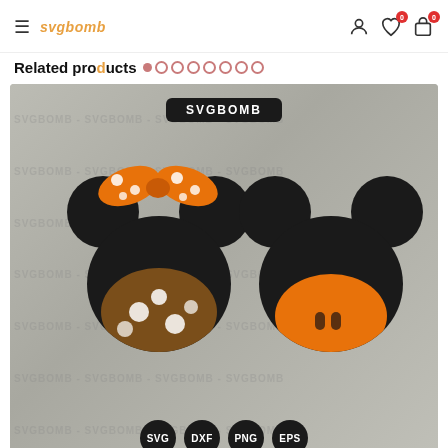svgbomb — navigation bar with hamburger menu, user icon, heart icon (0), cart icon (0)
Related products
[Figure (illustration): SVG product image showing two Mickey/Minnie Mouse head silhouettes with Halloween/fall theme. Left: Minnie with orange polka-dot bow and brown polka-dot face. Right: Mickey with orange face/chin detail. SVGBOMB watermark repeated across concrete background. Format badges: SVG, DXF, PNG, EPS.]